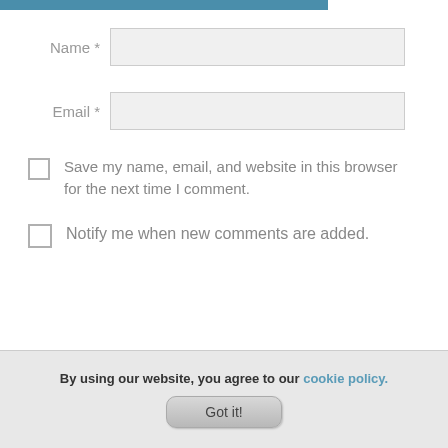[Figure (screenshot): Blue header bar at top of page]
Name *
Email *
Save my name, email, and website in this browser for the next time I comment.
Notify me when new comments are added.
By using our website, you agree to our cookie policy.
Got it!